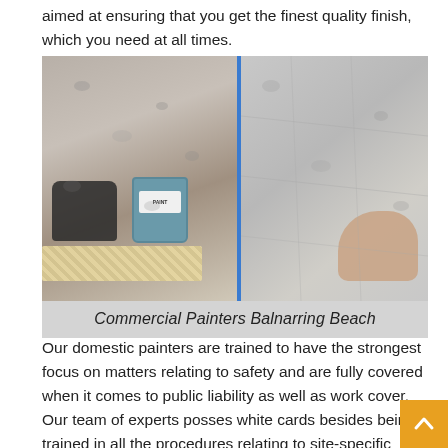aimed at ensuring that you get the finest quality finish, which you need at all times.
[Figure (photo): Two photos side by side: left shows a paint can (blue/teal, with label) and a sander tool on a surface with masking tape and supplies; right shows a hand pressing or smoothing a surface with blue tape visible as a divider between the two photos.]
Commercial Painters Balnarring Beach
Our domestic painters are trained to have the strongest focus on matters relating to safety and are fully covered when it comes to public liability as well as work cover. Our team of experts posses white cards besides being trained in all the procedures relating to site-specific safety regulations. Furthermore, all painters at Back 2 New Painting are fully licensed and have the experience that is needed in using all kinds of work platforms, which include scaffolding and all other harnessed work; we have the reputation of working on a wide range of jobs especially in situations where access proves to be a bit tricky.